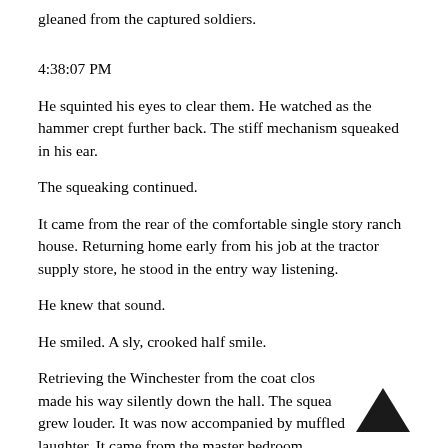gleaned from the captured soldiers.
4:38:07 PM
He squinted his eyes to clear them. He watched as the hammer crept further back. The stiff mechanism squeaked in his ear.
The squeaking continued.
It came from the rear of the comfortable single story ranch house. Returning home early from his job at the tractor supply store, he stood in the entry way listening.
He knew that sound.
He smiled. A sly, crooked half smile.
Retrieving the Winchester from the coat clos made his way silently down the hall. The squea grew louder. It was now accompanied by muffled laughter. It came from the master bedroom.
[Figure (illustration): A black upward-pointing chevron/arrow icon in the bottom right area of the page]